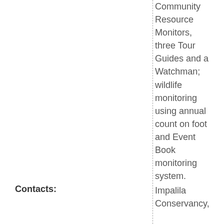Community Resource Monitors, three Tour Guides and a Watchman; wildlife monitoring using annual count on foot and Event Book monitoring system.
Contacts: Impalila Conservancy,